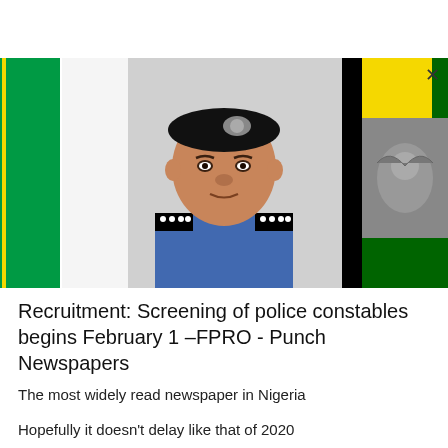[Figure (photo): Portrait of a Nigerian police officer in blue uniform and black beret with badge, flanked by the Nigerian flag on the left and a flag with green/yellow/black stripes and coat of arms on the right. Close-up official portrait photo.]
Recruitment: Screening of police constables begins February 1 –FPRO - Punch Newspapers
The most widely read newspaper in Nigeria
Hopefully it doesn't delay like that of 2020
1/27/2022 11:13:00 PM